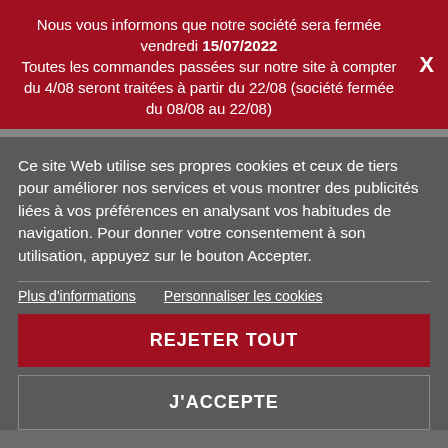Nous vous informons que notre société sera fermée vendredi 15/07/2022 Toutes les commandes passées sur notre site à compter du 4/08 seront traitées à partir du 22/08 (société fermée du 08/08 au 22/08)
Ce site Web utilise ses propres cookies et ceux de tiers pour améliorer nos services et vous montrer des publicités liées à vos préférences en analysant vos habitudes de navigation. Pour donner votre consentement à son utilisation, appuyez sur le bouton Accepter.
Plus d'informations   Personnaliser les cookies
REJETER TOUT
J'ACCEPTE